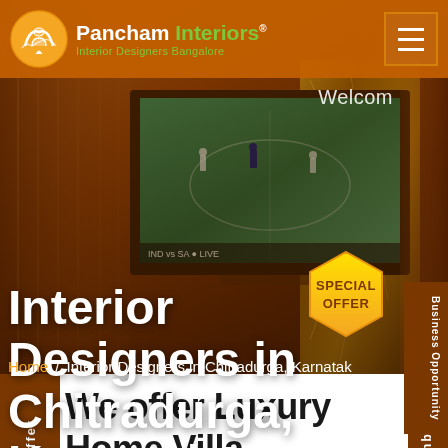Pancham Interiors® — Interior Designers Bangalore
[Figure (screenshot): Interior design hero image showing a luxury living room with golden marble wall panel, curtains, and a TV screen showing a cricket match. Background has warm brown tones.]
Welcom
[Figure (infographic): Hexagonal yellow badge with text 'SPECIAL OFFER']
Interior Designers in Chitradurga, Karnataka
Home / Interior Designers in Chitradurga, Karnatak
Business Opportunity
Offer
We offer Luxury Home Villa Apartment Interior Designers Services in Chitradurga
Enquiry